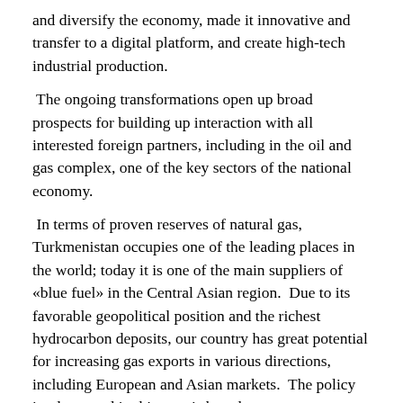and diversify the economy, made it innovative and transfer to a digital platform, and create high-tech industrial production.
The ongoing transformations open up broad prospects for building up interaction with all interested foreign partners, including in the oil and gas complex, one of the key sectors of the national economy.
In terms of proven reserves of natural gas, Turkmenistan occupies one of the leading places in the world; today it is one of the main suppliers of «blue fuel» in the Central Asian region.  Due to its favorable geopolitical position and the richest hydrocarbon deposits, our country has great potential for increasing gas exports in various directions, including European and Asian markets.  The policy implemented in this area is based on openness, predictability, and mutual responsibility.
Continuing the topic, we note that the raw material base and infrastructure of the transnational highway Central Asia-China are currently being strengthened.  New fields are gradually being commissioned on the Bagtyyarlyk contract area, the